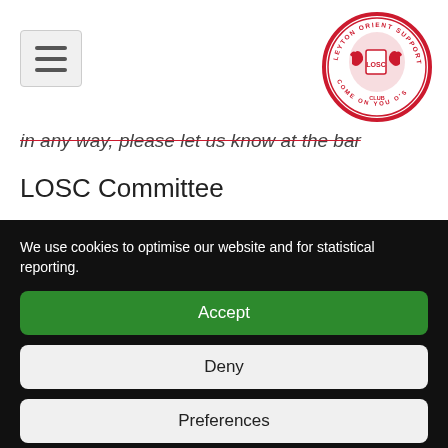Leyton Orient Supporters Club logo and navigation
in any way, please let us know at the bar
LOSC Committee
We use cookies to optimise our website and for statistical reporting.
Accept
Deny
Preferences